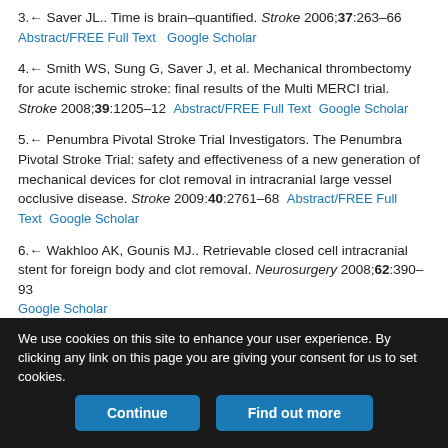3. Saver JL.. Time is brain–quantified. Stroke 2006;37:263–66 Abstract/FREE Full Text Google Scholar
4. Smith WS, Sung G, Saver J, et al. Mechanical thrombectomy for acute ischemic stroke: final results of the Multi MERCI trial. Stroke 2008;39:1205–12 Abstract/FREE Full Text Google Scholar
5. Penumbra Pivotal Stroke Trial Investigators. The Penumbra Pivotal Stroke Trial: safety and effectiveness of a new generation of mechanical devices for clot removal in intracranial large vessel occlusive disease. Stroke 2009:40:2761–68 Abstract/FREE Full Text Google Scholar
6. Wakhloo AK, Gounis MJ.. Retrievable closed cell intracranial stent for foreign body and clot removal. Neurosurgery 2008;62:390–93 Google Scholar
We use cookies on this site to enhance your user experience. By clicking any link on this page you are giving your consent for us to set cookies.